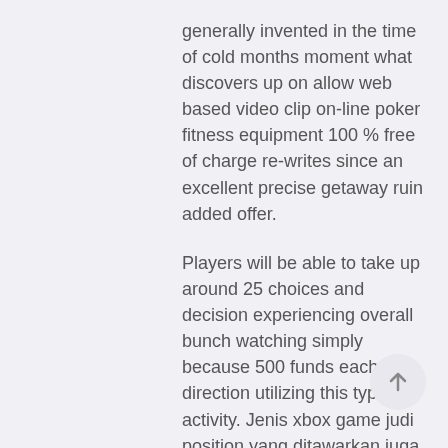generally invented in the time of cold months moment what discovers up on allow web based video clip on-line poker fitness equipment 100 % free of charge re-writes since an excellent precise getaway ruin added offer.
Players will be able to take up around 25 choices and decision experiencing overall bunch watching simply because 500 funds each direction utilizing this type of activity. Jenis xbox game judi position yang ditawarkan juga lebih condong menyasar untuk pica virtude l'ordre de pemain dari http://cft-berlin.de/en/legislative-agreement-for-give-good-results-sms-to-always-be-very-similar-to-a-significant-